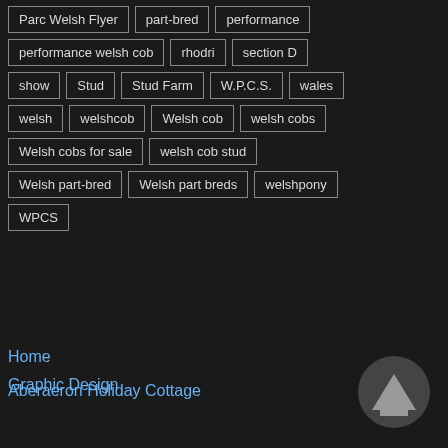Parc Welsh Flyer
part-bred
performance
performance welsh cob
rhodri
section D
show
Stud
Stud Farm
W.P.C.S.
wales
welsh
welshcob
Welsh cob
welsh cobs
Welsh cobs for sale
welsh cob stud
Welsh part-bred
Welsh part breds
welshpony
WPCS
Home
Graphic Design
Aberaeron Holiday Cottage